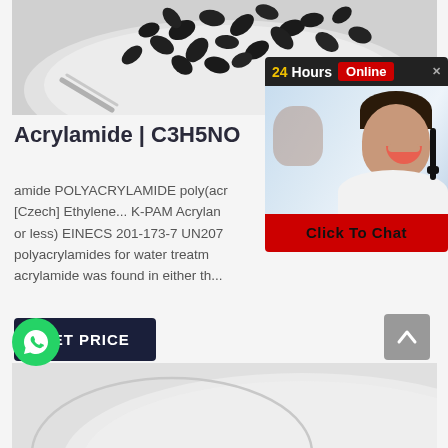[Figure (photo): Close-up photo of dark/black seeds (possibly black sesame or similar) on a plate, gray background]
[Figure (screenshot): Live chat widget overlay showing '24Hours Online' header bar, photo of smiling woman with headset, and red 'Click To Chat' button]
Acrylamide | C3H5NO
amide POLYACRYLAMIDE poly(acr [Czech] Ethylene... K-PAM Acrylan or less) EINECS 201-173-7 UN207 polyacrylamides for water treatm acrylamide was found in either th...
[Figure (other): GET PRICE button — dark navy rectangle with white bold text]
[Figure (photo): Bottom partial photo of a plate or bowl, gray/white tones]
[Figure (other): WhatsApp floating button — green circle with white WhatsApp icon]
[Figure (other): Back to top button — gray square with white up-arrow]